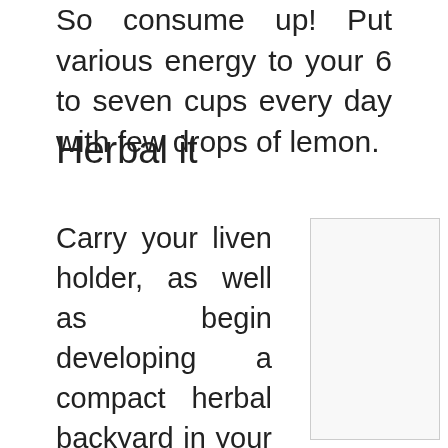So consume up! Put various energy to your 6 to seven cups every day with few drops of lemon.
Herbal it
Carry your liven holder, as well as begin developing a compact herbal backyard in your own kitchen area home window. Spices or herbs and also herbal treatments include amazing flavoring to food products without
[Figure (photo): Empty white/light grey rectangular image placeholder with border]